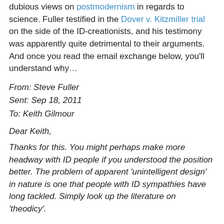dubious views on postmodernism in regards to science. Fuller testified in the Dover v. Kitzmiller trial on the side of the ID-creationists, and his testimony was apparently quite detrimental to their arguments. And once you read the email exchange below, you'll understand why…
From: Steve Fuller
Sent: Sep 18, 2011
To: Keith Gilmour
Dear Keith,
Thanks for this. You might perhaps make more headway with ID people if you understood the position better. The problem of apparent 'unintelligent design' in nature is one that people with ID sympathies have long tackled. Simply look up the literature on 'theodicy'.